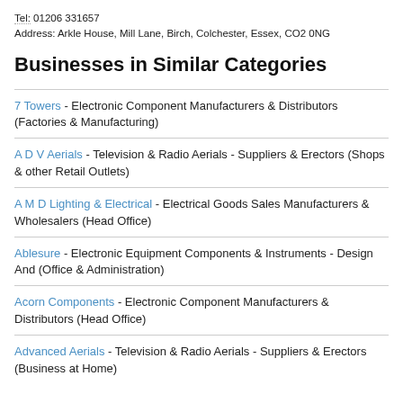Tel: 01206 331657
Address: Arkle House, Mill Lane, Birch, Colchester, Essex, CO2 0NG
Businesses in Similar Categories
7 Towers - Electronic Component Manufacturers & Distributors (Factories & Manufacturing)
A D V Aerials - Television & Radio Aerials - Suppliers & Erectors (Shops & other Retail Outlets)
A M D Lighting & Electrical - Electrical Goods Sales Manufacturers & Wholesalers (Head Office)
Ablesure - Electronic Equipment Components & Instruments - Design And (Office & Administration)
Acorn Components - Electronic Component Manufacturers & Distributors (Head Office)
Advanced Aerials - Television & Radio Aerials - Suppliers & Erectors (Business at Home)